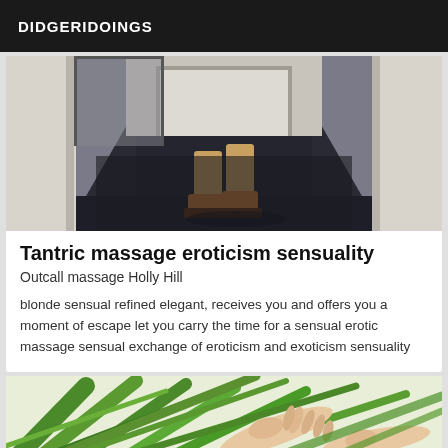DIDGERIDOINGS
[Figure (photo): A hallway/corridor with dark patterned carpet on the floor, person's legs and brown shoes visible walking away, white walls and a door frame at the end.]
Tantric massage eroticism sensuality
Outcall massage Holly Hill
blonde sensual refined elegant, receives you and offers you a moment of escape let you carry the time for a sensual erotic massage sensual exchange of eroticism and exoticism sensuality
[Figure (photo): A person's hands reaching through green tropical palm-like plant leaves, in a massage or nature setting.]